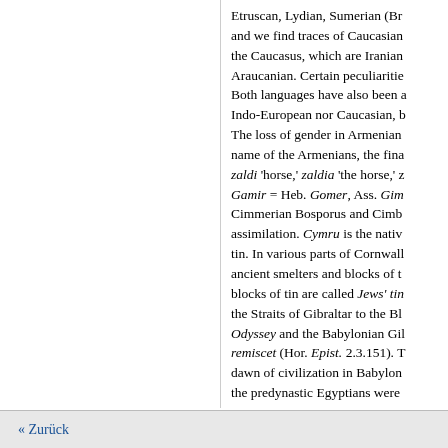Etruscan, Lydian, Sumerian (Br... and we find traces of Caucasian... the Caucasus, which are Iranian... Araucanian. Certain peculiarities... Both languages have also been a... Indo-European nor Caucasian, b... The loss of gender in Armenian... name of the Armenians, the fina... zaldi 'horse,' zaldia 'the horse,' z... Gamir = Heb. Gomer, Ass. Gim... Cimmerian Bosporus and Cimb... assimilation. Cymru is the nativ... tin. In various parts of Cornwall... ancient smelters and blocks of t... blocks of tin are called Jews' tin... the Straits of Gibraltar to the Bl... Odyssey and the Babylonian Gil... remiscet (Hor. Epist. 2.3.151). T... dawn of civilization in Babylon... the predynastic Egyptians were... We have a suffix article not o...
« Zurück